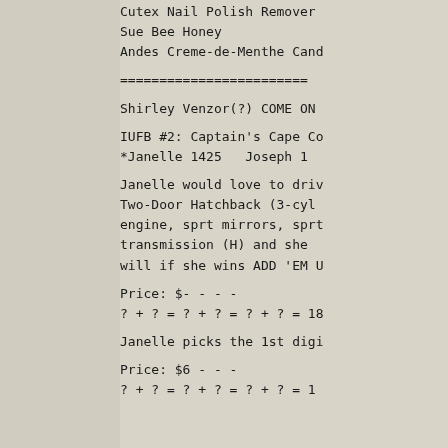Cutex Nail Polish Remover
Sue Bee Honey
Andes Creme-de-Menthe Cand
========================
Shirley Venzor(?) COME ON
IUFB #2: Captain's Cape Co
*Janelle 1425   Joseph 1
Janelle would love to driv
Two-Door Hatchback (3-cyl
engine, sprt mirrors, sprt
transmission (H) and she
will if she wins ADD 'EM U
Price: $- - - -
? + ? = ? + ? = ? + ? = 18
Janelle picks the 1st digi
Price: $6 - - -
? + ? = ? + ? = ? + ? = 1